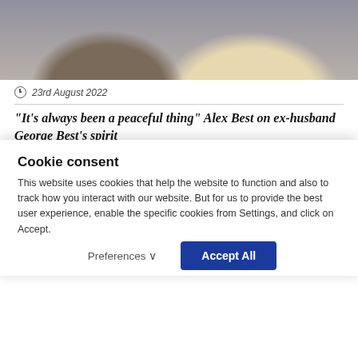[Figure (photo): Photo of a smiling man with beard and a blonde woman, cropped at top of page]
23rd August 2022
“It’s always been a peaceful thing” Alex Best on ex-husband George Best’s spirit
[Figure (photo): Photo of a young child with a headband in front of colorful TV studio background with colored bars and lights]
Cookie consent
This website uses cookies that help the website to function and also to track how you interact with our website. But for us to provide the best user experience, enable the specific cookies from Settings, and click on Accept.
Preferences ∨
Accept All